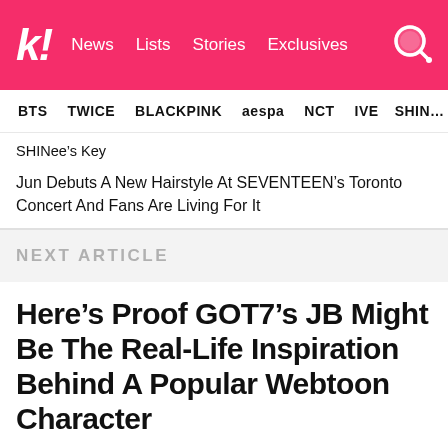k! News Lists Stories Exclusives
BTS TWICE BLACKPINK aespa NCT IVE SHINee's Key
SHINee's Key
Jun Debuts A New Hairstyle At SEVENTEEN's Toronto Concert And Fans Are Living For It
NEXT ARTICLE
Here’s Proof GOT7’s JB Might Be The Real-Life Inspiration Behind A Popular Webtoon Character
Netizens are convinced JB is the real-life